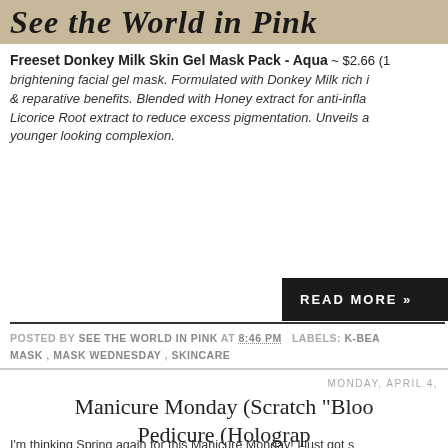[Figure (illustration): Blog header banner with cursive/handwritten text 'See the World in Pink' on a tan/beige background]
Freeset Donkey Milk Skin Gel Mask Pack - Aqua ~ $2.66 (10... brightening facial gel mask. Formulated with Donkey Milk rich i... & reparative benefits. Blended with Honey extract for anti-infla... Licorice Root extract to reduce excess pigmentation. Unveils a... younger looking complexion.
READ MORE »
POSTED BY SEE THE WORLD IN PINK AT 8:46 PM   LABELS: K-BEA... MASK , MASK WEDNESDAY , SKINCARE
MONDAY, APRIL 4,
Manicure Monday (Scratch "Bloo... Pedicure (Holograp...
I'm thinking Spring again for this Manicure Monday! I just got s... excited to dig in! I used the wraps "Bloom" - here is a look at m...